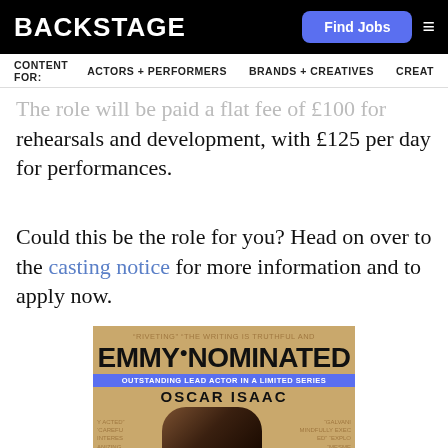BACKSTAGE | Find Jobs
CONTENT FOR: ACTORS + PERFORMERS  BRANDS + CREATIVES  CREAT…
The role will be paid a flat fee of £100 for rehearsals and development, with £125 per day for performances.
Could this be the role for you? Head on over to the casting notice for more information and to apply now.
[Figure (photo): Emmy Nominated promotional image for Oscar Isaac - Outstanding Lead Actor in a Limited Series, with two people visible in the lower half of the poster against a tan/gold background.]